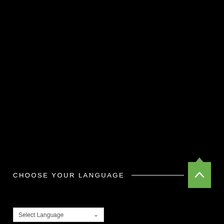[Figure (screenshot): Black background covering most of the page, representing a dark website or application background]
CHOOSE YOUR LANGUAGE
[Figure (illustration): Green scroll-to-top button with upward arrow chevron and green diamond/puzzle tab on top]
Select Language